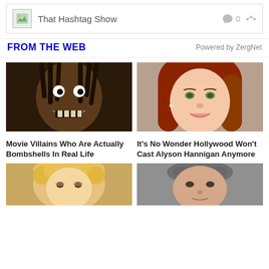That Hashtag Show  0
FROM THE WEB   Powered by ZergNet
[Figure (photo): Scary movie villain with dreadlocks and wide grin]
Movie Villains Who Are Actually Bombshells In Real Life
[Figure (photo): Alyson Hannigan smiling, red hair, close-up portrait]
It's No Wonder Hollywood Won't Cast Alyson Hannigan Anymore
[Figure (photo): Blonde curly hair woman close-up]
[Figure (photo): Middle-aged man with salt and pepper hair]